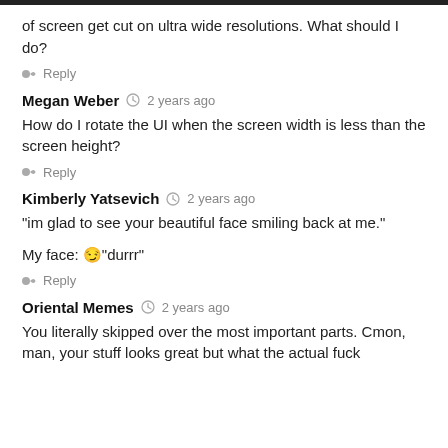of screen get cut on ultra wide resolutions. What should I do?
Reply
Megan Weber  2 years ago
How do I rotate the UI when the screen width is less than the screen height?
Reply
Kimberly Yatsevich  2 years ago
"im glad to see your beautiful face smiling back at me."
My face: 😏"durrr"
Reply
Oriental Memes  2 years ago
You literally skipped over the most important parts. Cmon, man, your stuff looks great but what the actual fuck